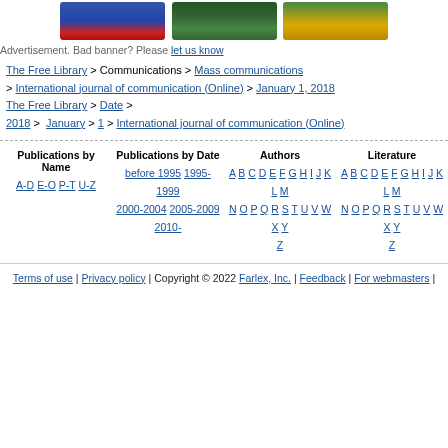[Figure (photo): Advertisement banner showing three Farlex International product books/boxes in blue, green, and gold/yellow colors]
Advertisement. Bad banner? Please let us know
The Free Library > Communications > Mass communications > International journal of communication (Online) > January 1, 2018
The Free Library > Date > 2018 > January > 1 > International journal of communication (Online)
Publications by Name | A-D E-O P-T U-Z
Publications by Date | before 1995 1995-1999 2000-2004 2005-2009 2010-
Authors | A B C D E F G H I J K L M N O P Q R S T U V W X Y Z
Literature | A B C D E F G H I J K L M N O P Q R S T U V W X Y Z
Terms of use | Privacy policy | Copyright © 2022 Farlex, Inc. | Feedback | For webmasters |